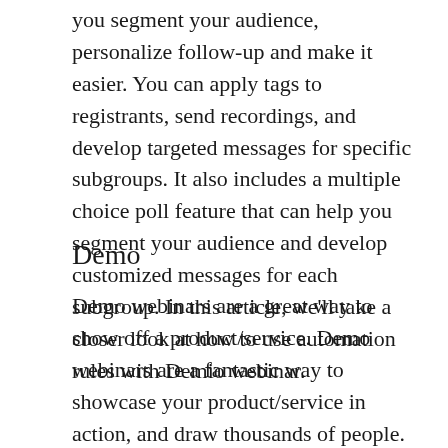you segment your audience, personalize follow-up and make it easier. You can apply tags to registrants, send recordings, and develop targeted messages for specific subgroups. It also includes a multiple choice poll feature that can help you segment your audience and develop customized messages for each subgroup. In this article, we'll take a closer look at how to use automation rules with Demio webinar.
Demo
Demo webinars are a great way to show off a product/service. Demo webinars are a fantastic way to showcase your product/service in action, and draw thousands of people. These webinars require little to no setup and are possible with multiple participants by videoconference. These